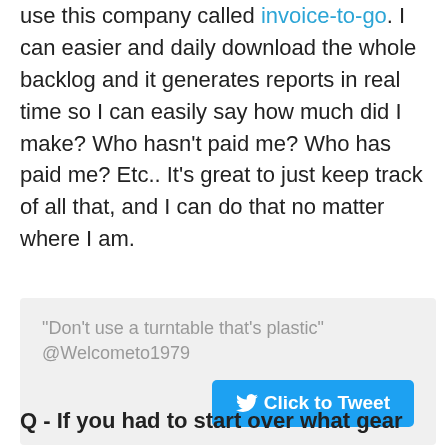use this company called invoice-to-go. I can easier and daily download the whole backlog and it generates reports in real time so I can easily say how much did I make? Who hasn't paid me? Who has paid me? Etc.. It's great to just keep track of all that, and I can do that no matter where I am.
[Figure (other): Tweet quote box with text: "Don't use a turntable that's plastic" @Welcometo1979, and a blue Click to Tweet button]
Q - If you had to start over what gear